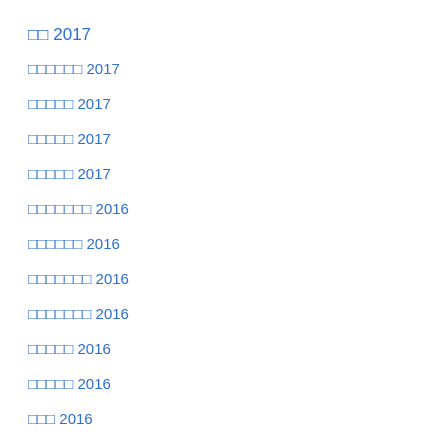□□ 2017
□□□□□□ 2017
□□□□□ 2017
□□□□□ 2017
□□□□□ 2017
□□□□□□□ 2016
□□□□□□ 2016
□□□□□□□ 2016
□□□□□□□ 2016
□□□□□ 2016
□□□□□ 2016
□□□ 2016
□□ 2016